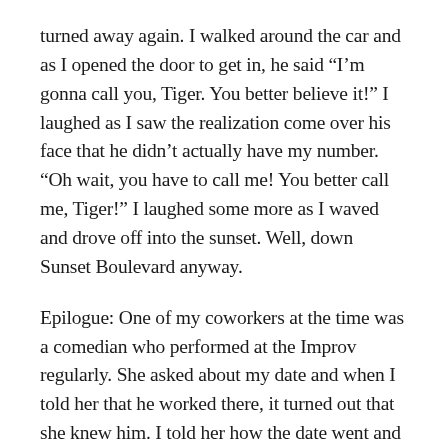turned away again. I walked around the car and as I opened the door to get in, he said “I’m gonna call you, Tiger. You better believe it!” I laughed as I saw the realization come over his face that he didn’t actually have my number. “Oh wait, you have to call me! You better call me, Tiger!” I laughed some more as I waved and drove off into the sunset. Well, down Sunset Boulevard anyway.
Epilogue: One of my coworkers at the time was a comedian who performed at the Improv regularly. She asked about my date and when I told her that he worked there, it turned out that she knew him. I told her how the date went and she laughed. A lot. She asked him about the date the next time she saw him and got quite a different version from him.